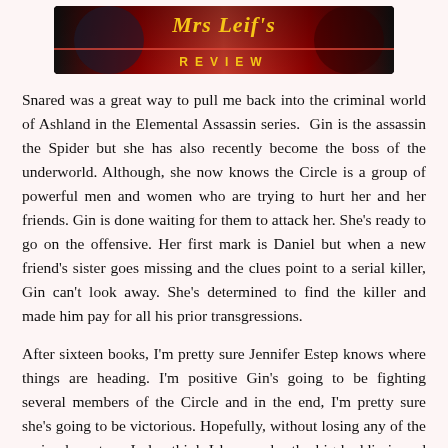[Figure (illustration): Mrs Leif's Review banner with gothic/horror style design, red and black background, woman with fangs, gold text reading "Mrs Leif's" in italic and "REVIEW" in spaced capital letters below]
Snared was a great way to pull me back into the criminal world of Ashland in the Elemental Assassin series.  Gin is the assassin the Spider but she has also recently become the boss of the underworld. Although, she now knows the Circle is a group of powerful men and women who are trying to hurt her and her friends. Gin is done waiting for them to attack her. She's ready to go on the offensive. Her first mark is Daniel but when a new friend's sister goes missing and the clues point to a serial killer, Gin can't look away. She's determined to find the killer and made him pay for all his prior transgressions.
After sixteen books, I'm pretty sure Jennifer Estep knows where things are heading. I'm positive Gin's going to be fighting several members of the Circle and in the end, I'm pretty sure she's going to be victorious. Hopefully, without losing any of the main characters. I also think I know who the big baddie is and that's going to be a shock to our poor Gin.
I liked that this book had the serial killer angle. I was feeling the...